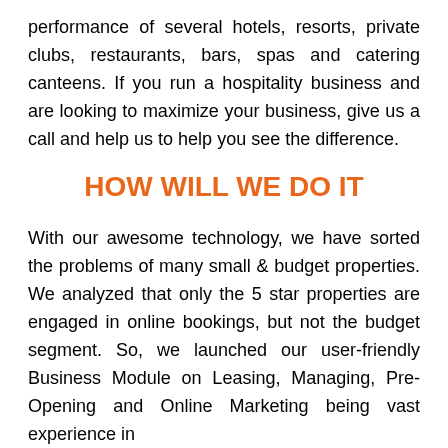performance of several hotels, resorts, private clubs, restaurants, bars, spas and catering canteens. If you run a hospitality business and are looking to maximize your business, give us a call and help us to help you see the difference.
HOW WILL WE DO IT
With our awesome technology, we have sorted the problems of many small & budget properties. We analyzed that only the 5 star properties are engaged in online bookings, but not the budget segment. So, we launched our user-friendly Business Module on Leasing, Managing, Pre- Opening and Online Marketing being vast experience in